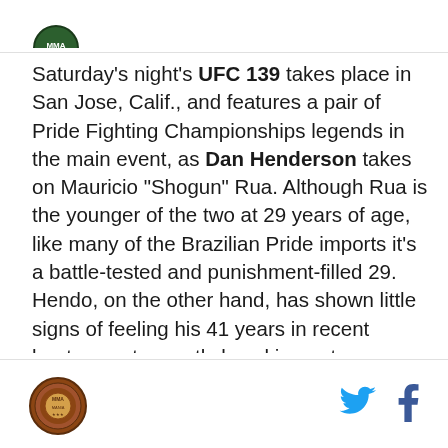[Figure (logo): Partial circular logo/badge at top left]
Saturday's night's UFC 139 takes place in San Jose, Calif., and features a pair of Pride Fighting Championships legends in the main event, as Dan Henderson takes on Mauricio "Shogun" Rua. Although Rua is the younger of the two at 29 years of age, like many of the Brazilian Pride imports it's a battle-tested and punishment-filled 29. Hendo, on the other hand, has shown little signs of feeling his 41 years in recent bouts, most recently knocking out heavyweight Greatest-of-all-Time Fedor Emelianenko. When the two step into the cage, expect an exciting bout with some strong fantasy prospects, although the night's strongest fantasy plays can be found fighting in the
[Figure (logo): Circular badge/seal logo at bottom left footer]
[Figure (logo): Twitter bird icon at bottom right]
[Figure (logo): Facebook f icon at bottom right]